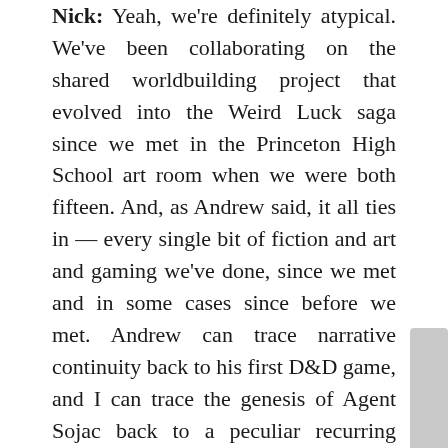Nick: Yeah, we're definitely atypical. We've been collaborating on the shared worldbuilding project that evolved into the Weird Luck saga since we met in the Princeton High School art room when we were both fifteen. And, as Andrew said, it all ties in — every single bit of fiction and art and gaming we've done, since we met and in some cases since before we met. Andrew can trace narrative continuity back to his first D&D game, and I can trace the genesis of Agent Sojac back to a peculiar recurring daydream I had when I was in elementary school.

We ran some epic roleplaying games in our late teens and on and off through our twenties. Running roleplaying games — the old-school,